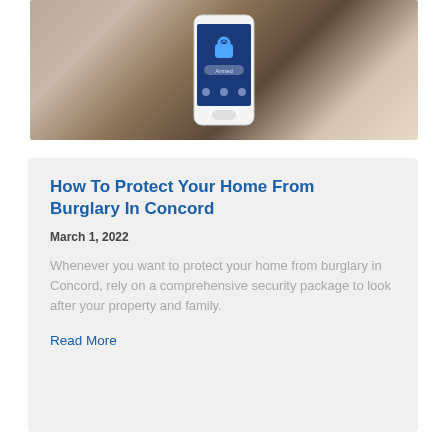[Figure (photo): A hand holding a smartphone displaying a home security app with a lock icon and 'Armed' status, with a house in the background]
How To Protect Your Home From Burglary In Concord
March 1, 2022
Whenever you want to protect your home from burglary in Concord, rely on a comprehensive security package to look after your property and family.
Read More